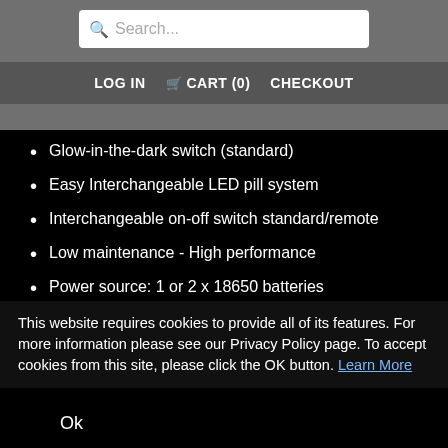Search... | LOG IN | CART (0) | CHECKOUT
Glow-in-the-dark switch (standard)
Easy Interchangeable LED pill system
Interchangeable on-off switch standard/remote
Low maintenance - High performance
Power source: 1 or 2 x 18650 batteries
Dimensions: 75mm (HD) 25mm (BD) 220mm (L)
Weight: 550g (without batteries)
This website requires cookies to provide all of its features. For more information please see our Privacy Policy page. To accept cookies from this site, please click the OK button. Learn More
Ok